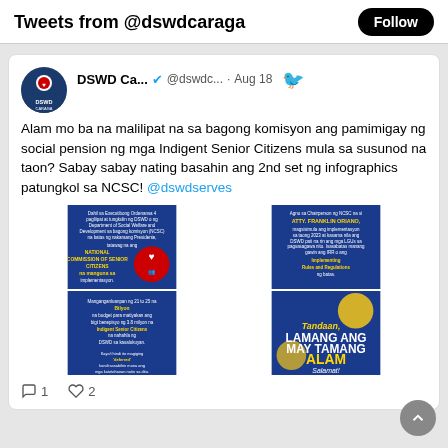Tweets from @dswdcaraga
DSWD Ca... @dswdc... · Aug 18
Alam mo ba na malilipat na sa bagong komisyon ang pamimigay ng social pension ng mga Indigent Senior Citizens mula sa susunod na taon? Sabay sabay nating basahin ang 2nd set ng infographics patungkol sa NCSC! @dswdserves
[Figure (infographic): Four-panel infographic grid about NCSC (National Commission of Senior Citizens). Top left: blue panel about DSWD and National Commission of Senior Citizens. Top right: blue panel about ATTY. FRANKLIN ORIANO, Chairperson. Bottom left: blue panel about budget range 21 to 25 billion. Bottom right: blue/yellow panel with text 'LAMANG ANG MAY TAMANG ALAM Salamat!']
1  2